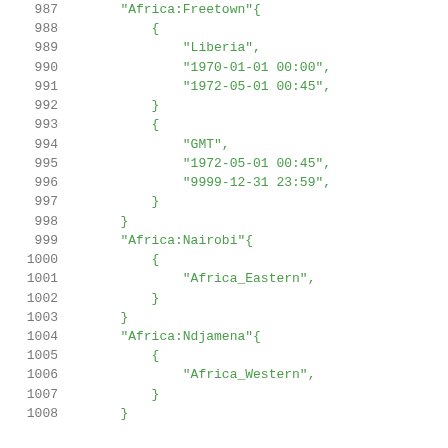Code listing showing timezone data structure (lines 987-1008), including entries for Liberia (1970-01-01 to 1972-05-01), GMT (1972-05-01 to 9999-12-31), Africa:Nairobi with Africa_Eastern, and Africa:Ndjamena with Africa_Western.